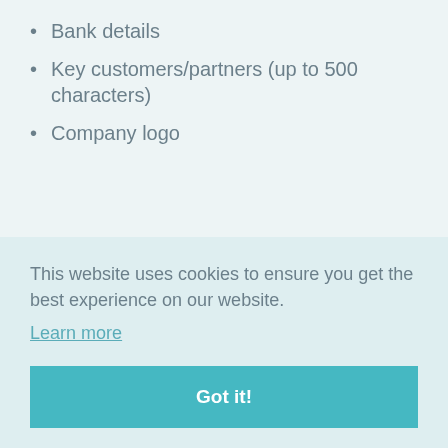Bank details
Key customers/partners (up to 500 characters)
Company logo
This website uses cookies to ensure you get the best experience on our website.
Learn more
Got it!